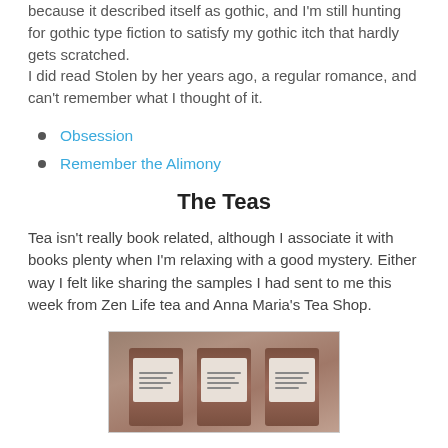because it described itself as gothic, and I'm still hunting for gothic type fiction to satisfy my gothic itch that hardly gets scratched.
I did read Stolen by her years ago, a regular romance, and can't remember what I thought of it.
Obsession
Remember the Alimony
The Teas
Tea isn't really book related, although I associate it with books plenty when I'm relaxing with a good mystery. Either way I felt like sharing the samples I had sent to me this week from Zen Life tea and Anna Maria's Tea Shop.
[Figure (photo): Three tea sample packets in brown/rust colored foil packaging with white labels, arranged on a reflective surface inside a light-bordered box.]